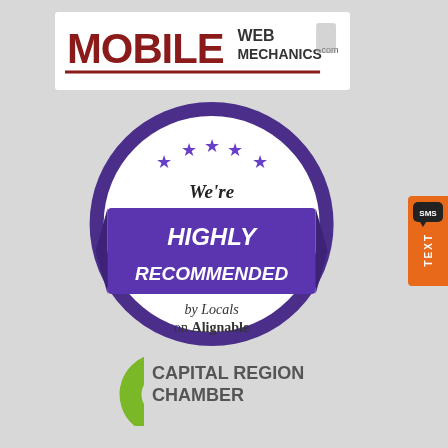[Figure (logo): Mobile Web Mechanics .com logo with dark red bold MOBILE text and web/mechanics text, underlined]
[Figure (infographic): Purple circular badge with stars reading We're HIGHLY RECOMMENDED by Locals on Alignable]
[Figure (logo): SMS TEXT button in orange on right side]
[Figure (logo): Capital Region Chamber logo with green C letter mark and gray text]